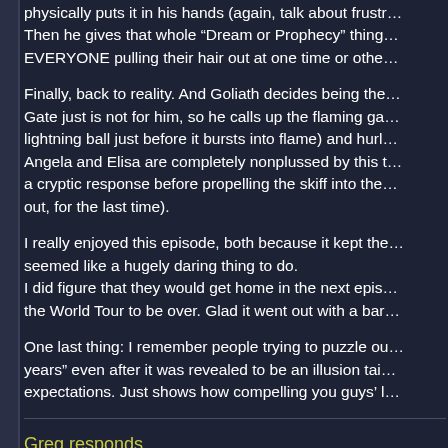physically puts it in his hands (again, talk about frust... Then he gives that whole "Dream or Prophecy" thing... EVERYONE pulling their hair out at one time or othe...
Finally, back to reality. And Goliath decides being the... Gate just is not for him, so he calls up the flaming ga... lightning ball just before it bursts into flame) and hurl... Angela and Elisa are completely nonplussed by this t... a cryptic response before propelling the skiff into the... out, for the last time).
I really enjoyed this episode, both because it kept the... seemed like a hugely daring thing to do. I did figure that they would get home in the next epis... the World Tour to be over. Glad it went out with a bar...
One last thing: I remember people trying to puzzle ou... years" even after it was revealed to be an illusion tai... expectations. Just shows how compelling you guys' l...
Greg responds...
Than...